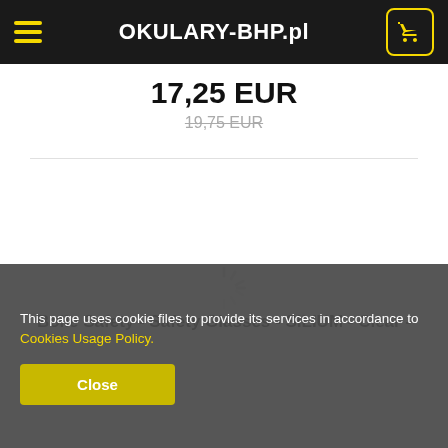OKULARY-BHP.pl
17,25 EUR
19,75 EUR
[Figure (illustration): Loading spinner icon (circular spokes)]
Bolle Safety - Safety Glasses - SILIUM - Clear -
This page uses cookie files to provide its services in accordance to Cookies Usage Policy.
Close